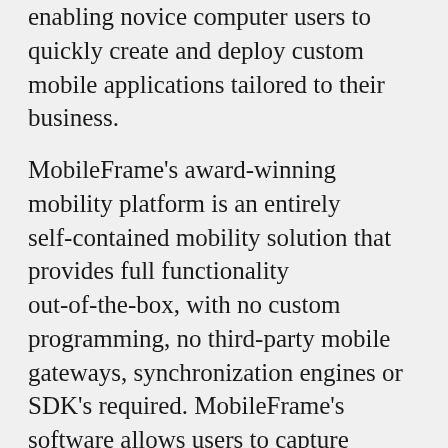enabling novice computer users to quickly create and deploy custom mobile applications tailored to their business.
MobileFrame's award-winning mobility platform is an entirely self-contained mobility solution that provides full functionality out-of-the-box, with no custom programming, no third-party mobile gateways, synchronization engines or SDK's required. MobileFrame's software allows users to capture photographs, voice notes, documents, templates, logos, sketches, digital signatures, bar code scans, magnetic strip read outs, RFID tags, advanced algorithmic functions, and attach them directly into their mobile applications. Applications are stored in a library so administrators can quickly make changes whenever operational requirements change